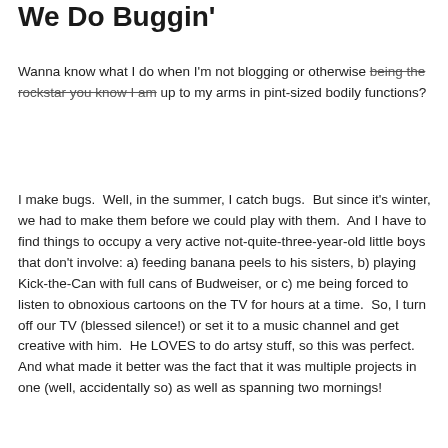We Do Buggin'
Wanna know what I do when I'm not blogging or otherwise being the rockstar you know I am up to my arms in pint-sized bodily functions?
I make bugs.  Well, in the summer, I catch bugs.  But since it's winter, we had to make them before we could play with them.  And I have to find things to occupy a very active not-quite-three-year-old little boys that don't involve: a) feeding banana peels to his sisters, b) playing Kick-the-Can with full cans of Budweiser, or c) me being forced to listen to obnoxious cartoons on the TV for hours at a time.  So, I turn off our TV (blessed silence!) or set it to a music channel and get creative with him.  He LOVES to do artsy stuff, so this was perfect.  And what made it better was the fact that it was multiple projects in one (well, accidentally so) as well as spanning two mornings!